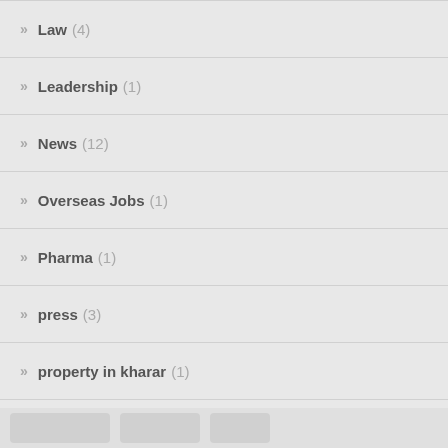Law (4)
Leadership (1)
News (12)
Overseas Jobs (1)
Pharma (1)
press (3)
property in kharar (1)
Real Estate (9)
Social Media (1)
Technologies (11) | Website Hosting (3)
Travels (10)
Web Deavlopment (2)
Wedding Planners (1)